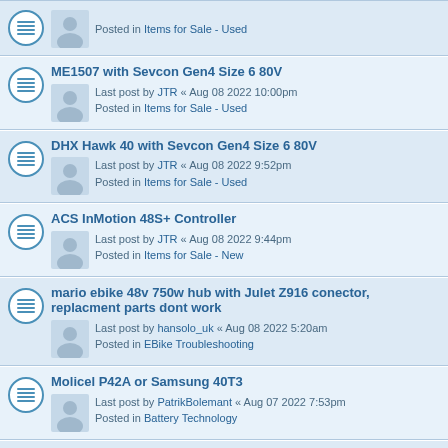Posted in Items for Sale - Used
ME1507 with Sevcon Gen4 Size 6 80V
Last post by JTR « Aug 08 2022 10:00pm
Posted in Items for Sale - Used
DHX Hawk 40 with Sevcon Gen4 Size 6 80V
Last post by JTR « Aug 08 2022 9:52pm
Posted in Items for Sale - Used
ACS InMotion 48S+ Controller
Last post by JTR « Aug 08 2022 9:44pm
Posted in Items for Sale - New
mario ebike 48v 750w hub with Julet Z916 conector, replacment parts dont work
Last post by hansolo_uk « Aug 08 2022 5:20am
Posted in EBike Troubleshooting
Molicel P42A or Samsung 40T3
Last post by PatrikBolemant « Aug 07 2022 7:53pm
Posted in Battery Technology
60 volt controller wiring help
Last post by PhiLasVegas69 « Aug 07 2022 6:21am
Posted in EScooters/EMotorcycles
KT LCD3 error 3 250W hall motor 48V battery
Last post by MaximumRatio « Aug 06 2022 4:00pm